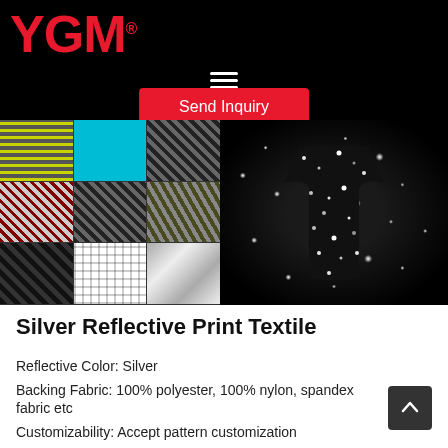YGM
[Figure (photo): Left: grid of reflective fabric swatches in various patterns and colors (yellow stripe, cyan, dark geometric, olive, black geometric, white net, silver, lime stripe, cyan triangle, dark mixed). Right: black background with sparkling reflective garment/textile showing scattered silver light dots.]
Silver Reflective Print Textile
Reflective Color: Silver
Backing Fabric: 100% polyester, 100% nylon, spandex fabric etc
Customizability: Accept pattern customization